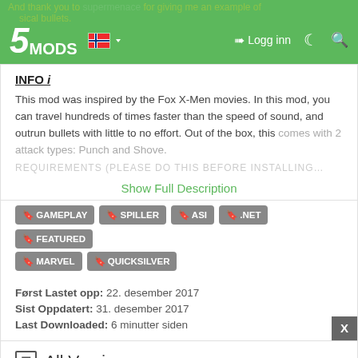5MODS — Logg inn (navigation bar)
And thank you to … for giving me an example of … sical bullets.
INFO i
This mod was inspired by the Fox X-Men movies. In this mod, you can travel hundreds of times faster than the speed of sound, and outrun bullets with little to no effort. Out of the box, this comes with 2 attack types: Punch and Shove.
REQUIREMENTS (PLEASE DO THIS BEFORE INSTALLING…
Show Full Description
GAMEPLAY
SPILLER
ASI
.NET
FEATURED
MARVEL
QUICKSILVER
Først Lastet opp: 22. desember 2017
Sist Oppdatert: 31. desember 2017
Last Downloaded: 6 minutter siden
All Versions